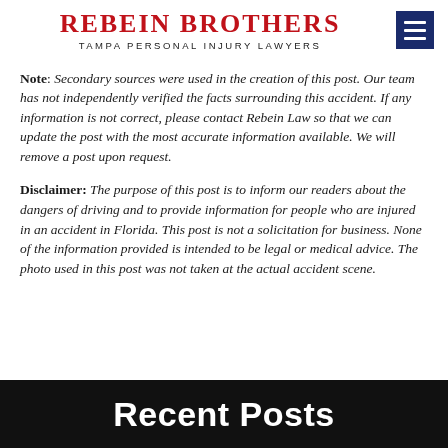REBEIN BROTHERS — TAMPA PERSONAL INJURY LAWYERS
Note: Secondary sources were used in the creation of this post. Our team has not independently verified the facts surrounding this accident. If any information is not correct, please contact Rebein Law so that we can update the post with the most accurate information available. We will remove a post upon request.
Disclaimer: The purpose of this post is to inform our readers about the dangers of driving and to provide information for people who are injured in an accident in Florida. This post is not a solicitation for business. None of the information provided is intended to be legal or medical advice. The photo used in this post was not taken at the actual accident scene.
Recent Posts